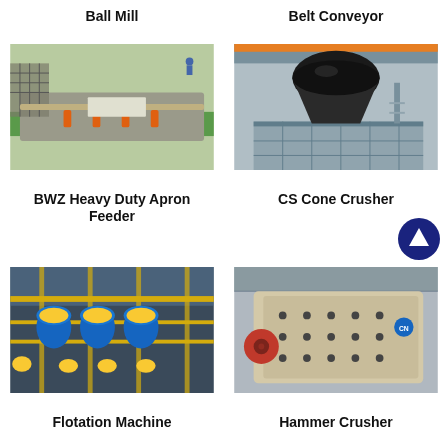Ball Mill
Belt Conveyor
[Figure (photo): Ball Mill industrial machinery in a factory setting, showing large grey conveyor/milling equipment with orange components and green-painted floor]
[Figure (photo): Belt Conveyor / CS Cone Crusher large black crushing machine on elevated steel platform inside industrial building]
BWZ Heavy Duty Apron Feeder
CS Cone Crusher
[Figure (photo): Flotation Machine industrial facility with blue cylindrical flotation cells and yellow structural framework]
[Figure (photo): Hammer Crusher large beige/cream colored crusher machine with red wheel component inside industrial building]
Flotation Machine
Hammer Crusher